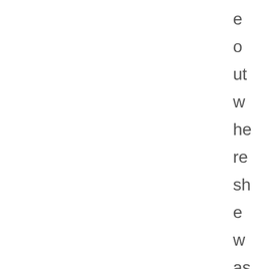e o ut w he re sh e w as di ff er en